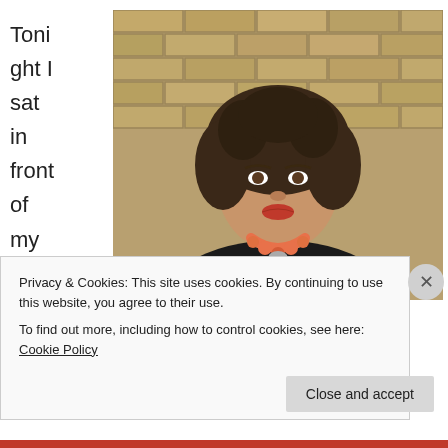Tonight I sat in front of my compute
[Figure (photo): Portrait photo of a young woman with curly dark hair, wearing a black top and a coral/orange necklace, posed against a brick wall background.]
Privacy & Cookies: This site uses cookies. By continuing to use this website, you agree to their use.
To find out more, including how to control cookies, see here: Cookie Policy
Close and accept